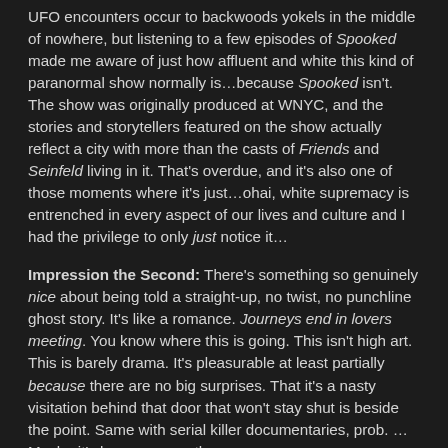UFO encounters occur to backwoods yokels in the middle of nowhere, but listening to a few episodes of Spooked made me aware of just how affluent and white this kind of paranormal show normally is…because Spooked isn't. The show was originally produced at WNYC, and the stories and storytellers featured on the show actually reflect a city with more than the casts of Friends and Seinfeld living in it. That's overdue, and it's also one of those moments where it's just…ohai, white supremacy is entrenched in every aspect of our lives and culture and I had the privilege to only just notice it…
Impression the Second: There's something so genuinely nice about being told a straight-up, no twist, no punchline ghost story. It's like a romance. Journeys end in lovers meeting. You know where this is going. This isn't high art. This is barely drama. It's pleasurable at least partially because there are no big surprises. That it's a nasty visitation behind that door that won't stay shut is beside the point. Same with serial killer documentaries, prob. …Maybe it's less romance than